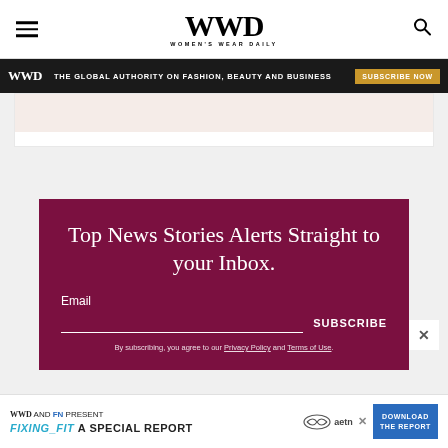WWD WOMEN'S WEAR DAILY
THE GLOBAL AUTHORITY ON FASHION, BEAUTY AND BUSINESS SUBSCRIBE NOW
[Figure (illustration): Light pink/peach placeholder image area inside white article card]
Top News Stories Alerts Straight to your Inbox.
Email SUBSCRIBE
By subscribing, you agree to our Privacy Policy and Terms of Use.
WWD AND FN PRESENT FIXING_FIT A SPECIAL REPORT DOWNLOAD THE REPORT